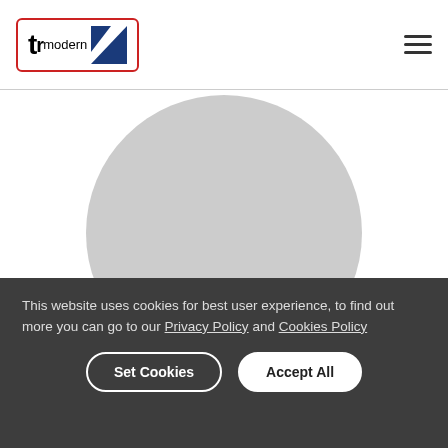trmodern logo and navigation hamburger menu
[Figure (illustration): Large light gray circle placeholder image on white background]
This website uses cookies for best user experience, to find out more you can go to our Privacy Policy and Cookies Policy
Set Cookies | Accept All